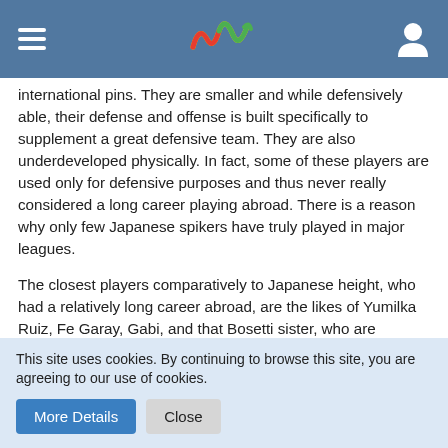international pins. They are smaller and while defensively able, their defense and offense is built specifically to supplement a great defensive team. They are also underdeveloped physically. In fact, some of these players are used only for defensive purposes and thus never really considered a long career playing abroad. There is a reason why only few Japanese spikers have truly played in major leagues.
The closest players comparatively to Japanese height, who had a relatively long career abroad, are the likes of Yumilka Ruiz, Fe Garay, Gabi, and that Bosetti sister, who are ultimately stronger both offensively and defensively than almost all Japanese pins. And all can handle the Physicality of an offense-based systems.
Also, I found that internationally experienced players tends
This site uses cookies. By continuing to browse this site, you are agreeing to our use of cookies.